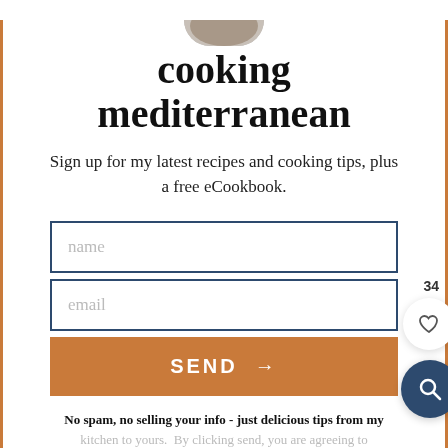[Figure (photo): Partial photo of food item visible at top of page]
cooking mediterranean
Sign up for my latest recipes and cooking tips, plus a free eCookbook.
name
email
SEND →
No spam, no selling your info - just delicious tips from my kitchen to yours. By clicking send, you are agreeing to our terms and privacy policy.